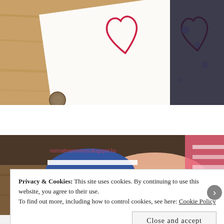[Figure (photo): Photo of a child's craft activity: a white piece of paper with a red heart outline drawn on it, lying on a wooden table. A child's arm and dark clothing with patterns visible on the right side.]
[Figure (photo): Photo showing a child's arm reaching across a wooden surface, wearing a blue and white striped sleeve. Pink and white clothing visible on the right. Watermark text reads: nonnativemommy.blogspot.hu]
Privacy & Cookies: This site uses cookies. By continuing to use this website, you agree to their use.
To find out more, including how to control cookies, see here: Cookie Policy
Close and accept